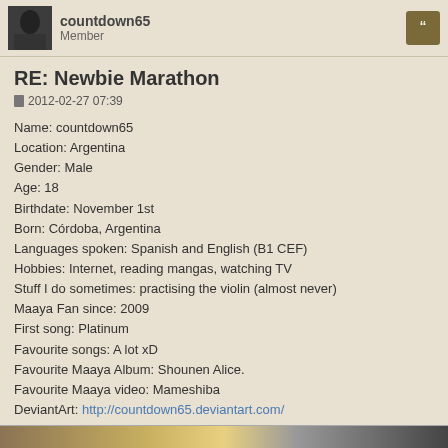countdown65 Member
RE: Newbie Marathon
2012-02-27 07:39
Name: countdown65
Location: Argentina
Gender: Male
Age: 18
Birthdate: November 1st
Born: Córdoba, Argentina
Languages spoken: Spanish and English (B1 CEF)
Hobbies: Internet, reading mangas, watching TV
Stuff I do sometimes: practising the violin (almost never)
Maaya Fan since: 2009
First song: Platinum
Favourite songs: A lot xD
Favourite Maaya Album: Shounen Alice.
Favourite Maaya video: Mameshiba
DeviantArt: http://countdown65.deviantart.com/
Last edited by countdown65 on 2013-11-30 03:58, edited 1 time in total.
IDLING TALK! Fan Podcast Presenter, with Nikki (on hiatus)